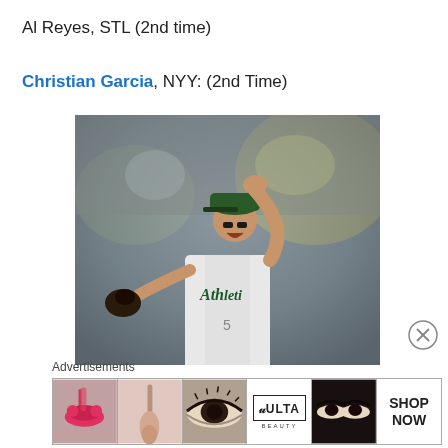Al Reyes, STL (2nd time)
Christian Garcia, NYY: (2nd Time)
[Figure (photo): Baseball player in Oakland Athletics white uniform celebrating with fist raised, wearing green cap and black glove, crowd in background]
Advertisements
[Figure (other): Ulta Beauty advertisement banner showing makeup images: lips with lipstick, makeup brush, eye with mascara, Ulta Beauty logo, eyes close-up, and SHOP NOW text]